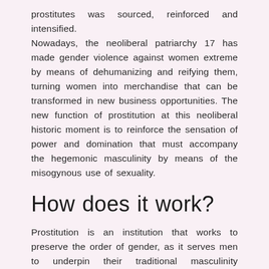prostitutes was sourced, reinforced and intensified. Nowadays, the neoliberal patriarchy 17 has made gender violence against women extreme by means of dehumanizing and reifying them, turning women into merchandise that can be transformed in new business opportunities. The new function of prostitution at this neoliberal historic moment is to reinforce the sensation of power and domination that must accompany the hegemonic masculinity by means of the misogynous use of sexuality.
How does it work?
Prostitution is an institution that works to preserve the order of gender, as it serves men to underpin their traditional masculinity naturalized, non-penetrable and dominant and to extract from it or from its existence a symbolic masculine capital, a sort of gender surplus before women Connell. At